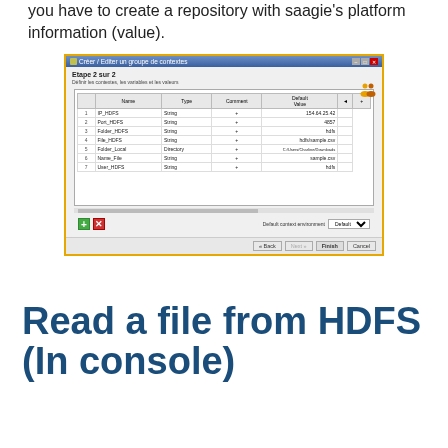you have to create a repository with saagie's platform information (value).
[Figure (screenshot): A Windows dialog box titled 'Créer / Editer un groupe de contextes', showing Step 2 of 2 (Etape 2 sur 2). A table lists context variables: IP_HDFS (String, 154.64.25.42), Port_HDFS (String, 4857), Folder_HDFS (String, hdfs), File_HDFS (String, hdfs/sample.csv), Folder_Local (Directory, C:/Users/Charline/Downloads), Name_File (String, sample.csv), User_HDFS (String, hdfs). Bottom has navigation buttons: Back, Next, Finish, Cancel.]
Read a file from HDFS (In console)